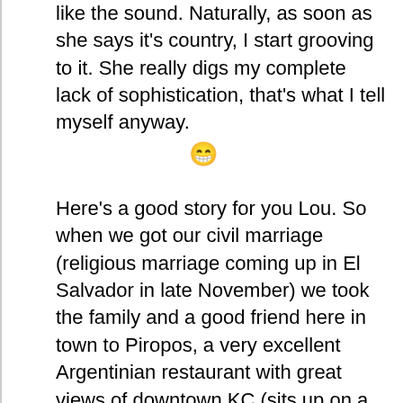like the sound. Naturally, as soon as she says it's country, I start grooving to it. She really digs my complete lack of sophistication, that's what I tell myself anyway. 😁
Here's a good story for you Lou. So when we got our civil marriage (religious marriage coming up in El Salvador in late November) we took the family and a good friend here in town to Piropos, a very excellent Argentinian restaurant with great views of downtown KC (sits up on a bluff). When we were done, my friend Andres paid the pianist a few dollars to play a traditional "first dance" Mexican song for me and Sandra. Since the last time I tried to do a salsa I broke a table, I didn't dare try it out- we two-stepped the whole song. So Sandra and I's first dance consisted of us two-stepping to a traditional Mexican first dance